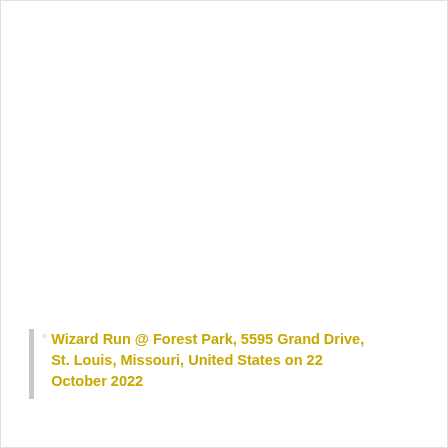Wizard Run @ Forest Park, 5595 Grand Drive, St. Louis, Missouri, United States on 22 October 2022